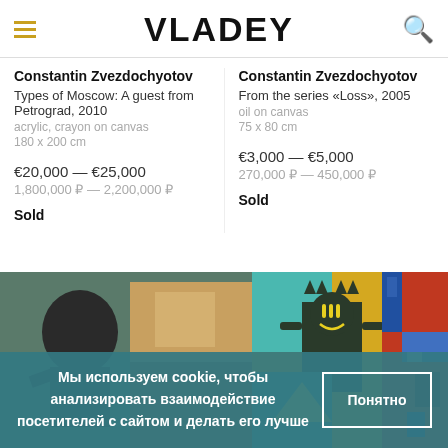VLADEY
Constantin Zvezdochyotov
Types of Moscow: A guest from Petrograd, 2010
acrylic, crayon on canvas
180 x 200 cm
€20,000 — €25,000
1,800,000 ₽ — 2,200,000 ₽
Sold
Constantin Zvezdochyotov
From the series «Loss», 2005
oil on canvas
75 x 80 cm
€3,000 — €5,000
270,000 ₽ — 450,000 ₽
Sold
[Figure (photo): Bottom section showing two artworks and a cookie consent banner overlay]
Мы используем cookie, чтобы анализировать взаимодействие посетителей с сайтом и делать его лучше
Понятно